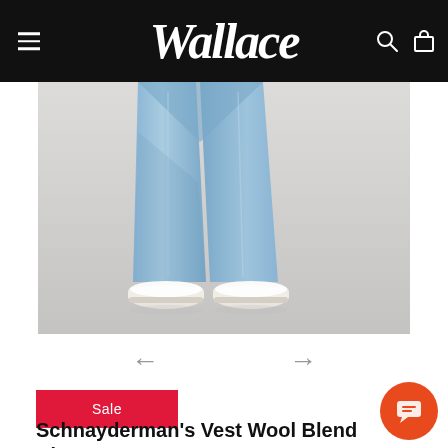Wallace
[Figure (photo): Lower half of person wearing light blue wide-leg jeans and white sneakers, standing against a light grey background]
← →
Sale
Schnayderman's Vest Wool Blend Chec... White/Blue